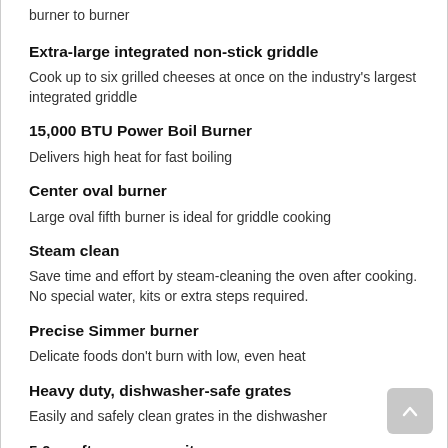burner to burner
Extra-large integrated non-stick griddle
Cook up to six grilled cheeses at once on the industry's largest integrated griddle
15,000 BTU Power Boil Burner
Delivers high heat for fast boiling
Center oval burner
Large oval fifth burner is ideal for griddle cooking
Steam clean
Save time and effort by steam-cleaning the oven after cooking. No special water, kits or extra steps required.
Precise Simmer burner
Delicate foods don't burn with low, even heat
Heavy duty, dishwasher-safe grates
Easily and safely clean grates in the dishwasher
5.0 cu. ft. oven capacity
Cook more dishes at once
Sealed cooktop burners